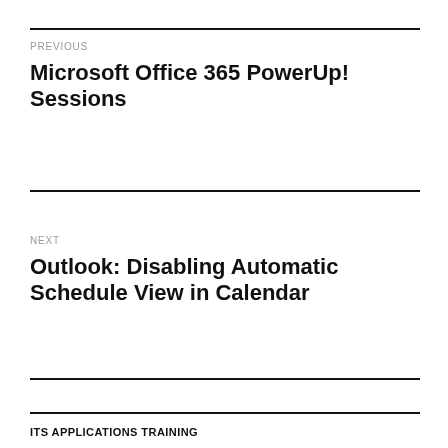PREVIOUS
Microsoft Office 365 PowerUp! Sessions
NEXT
Outlook: Disabling Automatic Schedule View in Calendar
ITS APPLICATIONS TRAINING